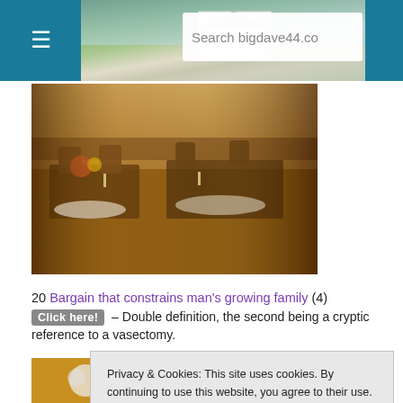bigdave44.co [Search] — navigation header with hamburger menu and search box
[Figure (photo): Interior of an elegant restaurant dining room with ornate wooden chairs, set tables, and warm lighting on hardwood floors]
20 Bargain that constrains man's growing family (4)
Click here! – Double definition, the second being a cryptic reference to a vasectomy.
23 C... [6) Click... owed by t... add (ente...
[Figure (photo): Partial view of a festive/Christmas image with red and gold decorations and a child]
Privacy & Cookies: This site uses cookies. By continuing to use this website, you agree to their use. To find out more, including how to control cookies, see here: Cookie Policy
Close and accept